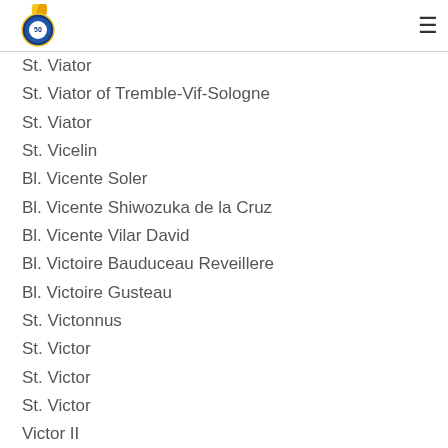[Logo] [Hamburger menu]
St. Viator
St. Viator of Tremble-Vif-Sologne
St. Viator
St. Vicelin
Bl. Vicente Soler
Bl. Vicente Shiwozuka de la Cruz
Bl. Vicente Vilar David
Bl. Victoire Bauduceau Reveillere
Bl. Victoire Gusteau
St. Victonnus
St. Victor
St. Victor
St. Victor
Victor II
St. Victor I